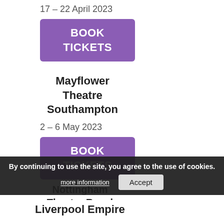17 – 22 April 2023
[Figure (other): Purple BOOK TICKETS button]
Mayflower Theatre Southampton
2 – 6 May 2023
[Figure (other): Purple BOOK TICKETS button]
Nottingham Theatre Royal
8 – 13 May 2023
[Figure (other): Purple BOOK TICKETS button (partially visible)]
By continuing to use the site, you agree to the use of cookies. more information Accept
Liverpool Empire